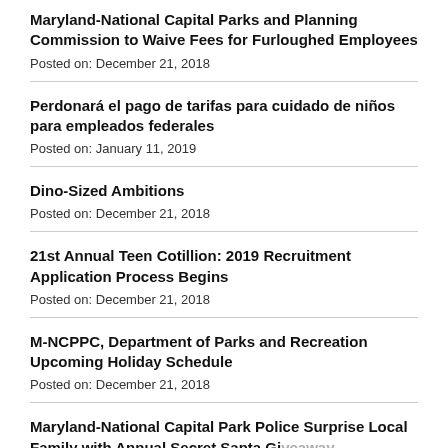Maryland-National Capital Parks and Planning Commission to Waive Fees for Furloughed Employees
Posted on: December 21, 2018
Perdonará el pago de tarifas para cuidado de niños para empleados federales
Posted on: January 11, 2019
Dino-Sized Ambitions
Posted on: December 21, 2018
21st Annual Teen Cotillion: 2019 Recruitment Application Process Begins
Posted on: December 21, 2018
M-NCPPC, Department of Parks and Recreation Upcoming Holiday Schedule
Posted on: December 21, 2018
Maryland-National Capital Park Police Surprise Local Family with Annual Secret Santa Giveaway